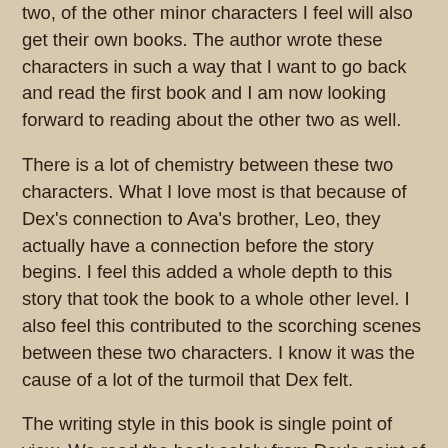two, of the other minor characters I feel will also get their own books. The author wrote these characters in such a way that I want to go back and read the first book and I am now looking forward to reading about the other two as well.
There is a lot of chemistry between these two characters. What I love most is that because of Dex's connection to Ava's brother, Leo, they actually have a connection before the story begins. I feel this added a whole depth to this story that took the book to a whole other level. I also feel this contributed to the scorching scenes between these two characters. I know it was the cause of a lot of the turmoil that Dex felt.
The writing style in this book is single point of view. We read the book solely from Dex's point of view. I have not read a single point of view in a while, but it wasn't bad. I do wish I was able to see things from Ava's point of view, but with the single point of view I really felt like I was trying to figure things out right alongside Dex. It made it a little bit easier for me to put myself in his shoes because I was missing important details just like he was.
I also have to say a bit about this book. Good felt th...